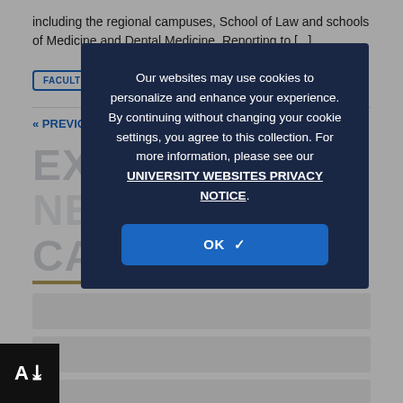including the regional campuses, School of Law and schools of Medicine and Dental Medicine. Reporting to [...]
FACULTY
« PREVIOUS   1   2
EXPLORE NEWS CATEGORIES
Our websites may use cookies to personalize and enhance your experience. By continuing without changing your cookie settings, you agree to this collection. For more information, please see our UNIVERSITY WEBSITES PRIVACY NOTICE.
OK ✓
COMMUNITY ENGAGEMENT